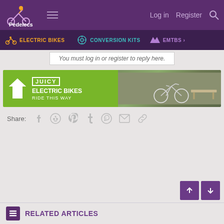Pedelecs — Log in  Register
ELECTRIC BIKES  CONVERSION KITS  EMTBS
You must log in or register to reply here.
[Figure (illustration): Juicy Electric Bikes advertisement banner showing a white bicycle leaning against a stone wall with a bench, with green background and white arrow/house logo.]
Share:
RELATED ARTICLES